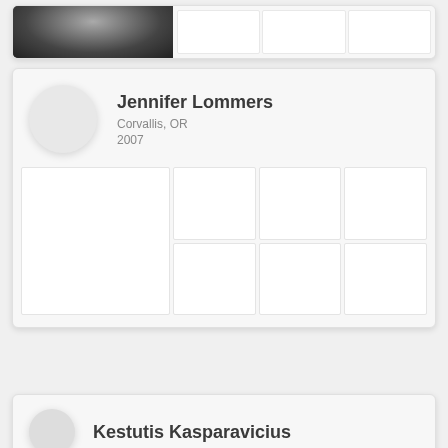[Figure (screenshot): Top partial profile card showing a black and white close-up photo on the left and three empty white grid cells on the right]
[Figure (screenshot): Profile card for Jennifer Lommers from Corvallis, OR, year 2007, with circular avatar placeholder and a photo grid of 7 cells (one large on the left, six smaller on the right in 2 rows)]
Jennifer Lommers
Corvallis, OR
2007
[Figure (screenshot): Bottom partial profile card showing a small circular avatar and the beginning of the name Kestutis Kasparavicius]